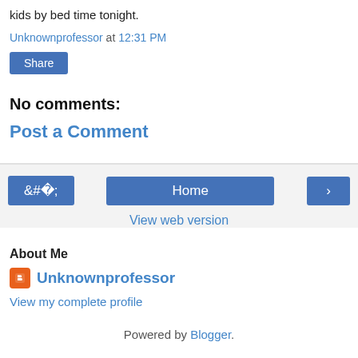kids by bed time tonight.
Unknownprofessor at 12:31 PM
Share
No comments:
Post a Comment
Home
View web version
About Me
Unknownprofessor
View my complete profile
Powered by Blogger.